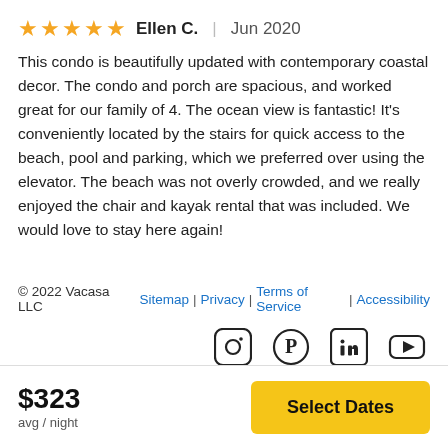★★★★★ Ellen C. | Jun 2020
This condo is beautifully updated with contemporary coastal decor. The condo and porch are spacious, and worked great for our family of 4. The ocean view is fantastic! It's conveniently located by the stairs for quick access to the beach, pool and parking, which we preferred over using the elevator. The beach was not overly crowded, and we really enjoyed the chair and kayak rental that was included. We would love to stay here again!
© 2022 Vacasa LLC  Sitemap | Privacy | Terms of Service | Accessibility
$323 avg / night
Select Dates